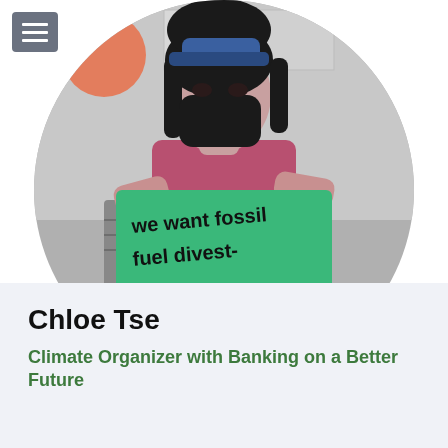[Figure (photo): Circular cropped black-and-white photo of a person (Chloe Tse) wearing a black face mask and pink top, holding a green sign that reads 'we want fossil fuel divestment'. A hamburger menu icon appears in the top-left corner of the page.]
Chloe Tse
Climate Organizer with Banking on a Better Future